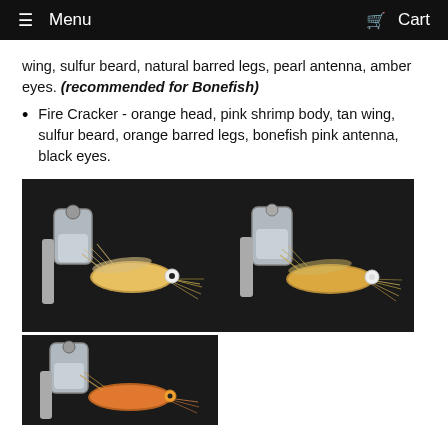Menu  Cart
wing, sulfur beard, natural barred legs, pearl antenna, amber eyes. (recommended for Bonefish)
Fire Cracker - orange head, pink shrimp body, tan wing, sulfur beard, orange barred legs, bonefish pink antenna, black eyes.
[Figure (photo): Two side-by-side photos of fly fishing lures (shrimp flies) held in fly tying vises against a dark background. The flies have tan/yellow bodies with white bead eyes and barred legs/antennae.]
[Figure (photo): Single photo of a fly fishing lure (shrimp fly) held in a fly tying vise against a dark background, showing orange/tan colored body.]